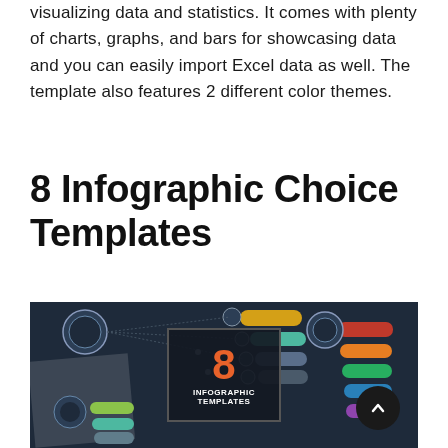visualizing data and statistics. It comes with plenty of charts, graphs, and bars for showcasing data and you can easily import Excel data as well. The template also features 2 different color themes.
8 Infographic Choice Templates
[Figure (photo): Preview image of infographic choice templates product showing dark-themed infographic layouts with circles, connectors, and colored pill-shaped labels, along with a center badge showing '8 INFOGRAPHIC TEMPLATES' in orange and white text on dark background. A scroll-to-top button is visible in the lower right.]